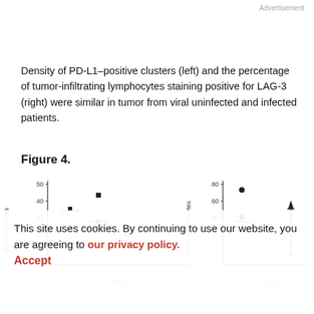Advertisement
Density of PD-L1–positive clusters (left) and the percentage of tumor-infiltrating lymphocytes staining positive for LAG-3 (right) were similar in tumor from viral uninfected and infected patients.
Figure 4.
[Figure (scatter-plot): Two scatter plots side by side. Left plot: y-axis labeled 'PD-L1+ clusters' (range ~20-50), x-axis labeled 'Stage'. Points at various stages with median bars. Right plot: y-axis labeled 'LAG-3+ lymphocytes' (range ~20-80), x-axis labeled 'Stage'. Points at various stages with median bars and error bars.]
This site uses cookies. By continuing to use our website, you are agreeing to our privacy policy. Accept